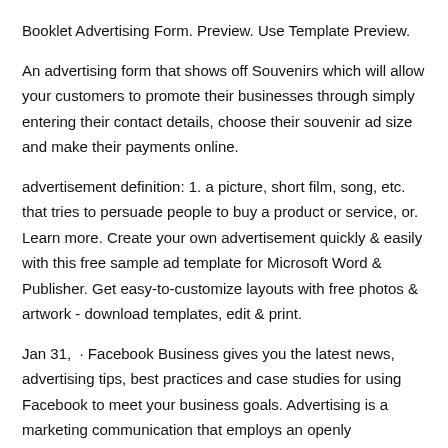Booklet Advertising Form. Preview. Use Template Preview.
An advertising form that shows off Souvenirs which will allow your customers to promote their businesses through simply entering their contact details, choose their souvenir ad size and make their payments online.
advertisement definition: 1. a picture, short film, song, etc. that tries to persuade people to buy a product or service, or. Learn more. Create your own advertisement quickly & easily with this free sample ad template for Microsoft Word & Publisher. Get easy-to-customize layouts with free photos & artwork - download templates, edit & print.
Jan 31,  · Facebook Business gives you the latest news, advertising tips, best practices and case studies for using Facebook to meet your business goals. Advertising is a marketing communication that employs an openly sponsored, non-personal message to promote or sell a product, service or idea.: Sponsors of advertising are typically businesses wishing to promote their products or services.
Advertising is differentiated from public relations in that an adverti...